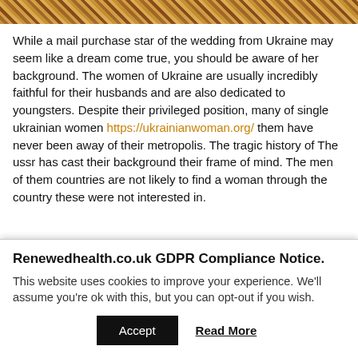[Figure (photo): Colorful floral/decorative image cropped at the top of the page]
While a mail purchase star of the wedding from Ukraine may seem like a dream come true, you should be aware of her background. The women of Ukraine are usually incredibly faithful for their husbands and are also dedicated to youngsters. Despite their privileged position, many of single ukrainian women https://ukrainianwoman.org/ them have never been away of their metropolis. The tragic history of The ussr has cast their background their frame of mind. The men of them countries are not likely to find a woman through the country these were not interested in.
Renewedhealth.co.uk GDPR Compliance Notice.
This website uses cookies to improve your experience. We'll assume you're ok with this, but you can opt-out if you wish.